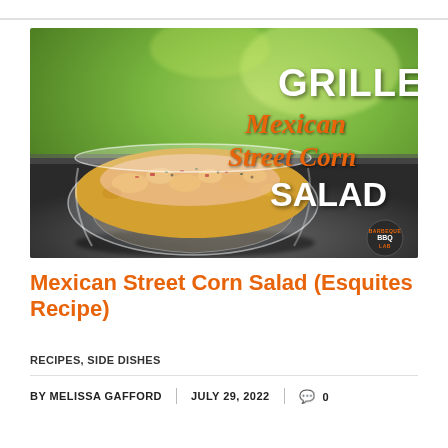[Figure (photo): Hero image for a recipe article: a glass bowl filled with grilled Mexican street corn salad, with blurred green background and a dark surface. Bold text overlay reads 'GRILLED' at top right in white, 'Mexican Street Corn' in orange italic script in the middle right, and 'SALAD' in white bold at bottom right. A small circular BBQ Lab logo is in the bottom right corner.]
Mexican Street Corn Salad (Esquites Recipe)
RECIPES, SIDE DISHES
BY MELISSA GAFFORD | JULY 29, 2022 | 🗨 0